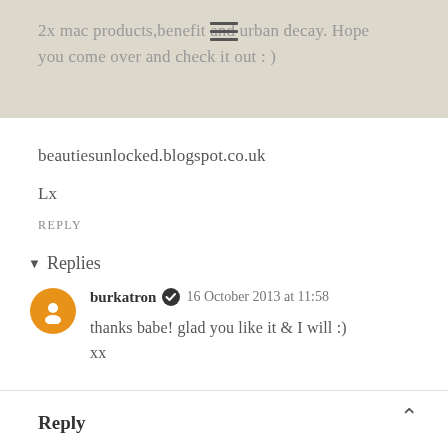2x mac products,benefit and urban decay. Hope you come over and check it out : )
beautiesunlocked.blogspot.co.uk
Lx
REPLY
▾ Replies
burkatron ✔ 16 October 2013 at 11:58
thanks babe! glad you like it & I will :) xx
Reply